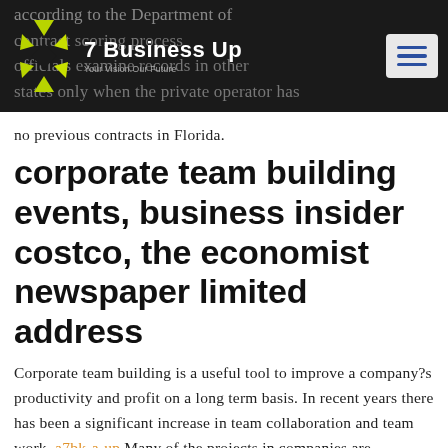7 Business Up — Your Vision Our Future
according to the Department of contract scoring process officials examine records in other states only when the private operator has no previous contracts in Florida.
corporate team building events, business insider costco, the economist newspaper limited address
Corporate team building is a useful tool to improve a company?s productivity and profit on a long term basis. In recent years there has been a significant increase in team collaboration and team work. a7bk-a-up Many of the projects in companies are